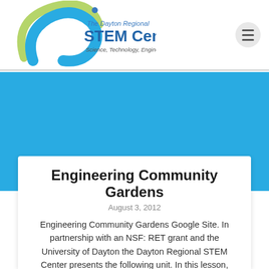[Figure (logo): The Dayton Regional STEM Center logo with swirl graphic and tagline 'Science, Technology, Engineering and Math']
Engineering Community Gardens
August 3, 2012
Engineering Community Gardens Google Site. In partnership with an NSF: RET grant and the University of Dayton the Dayton Regional STEM Center presents the following unit. In this lesson,